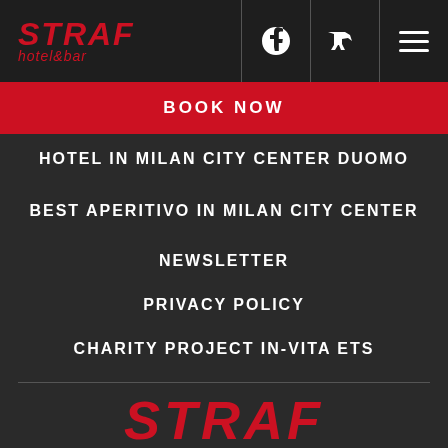STRAF hotel&bar
BOOK NOW
HOTEL IN MILAN CITY CENTER DUOMO
BEST APERITIVO IN MILAN CITY CENTER
NEWSLETTER
PRIVACY POLICY
CHARITY PROJECT IN-VITA ETS
[Figure (logo): Social media icons: Facebook, Twitter, TripAdvisor, Instagram]
STRAF